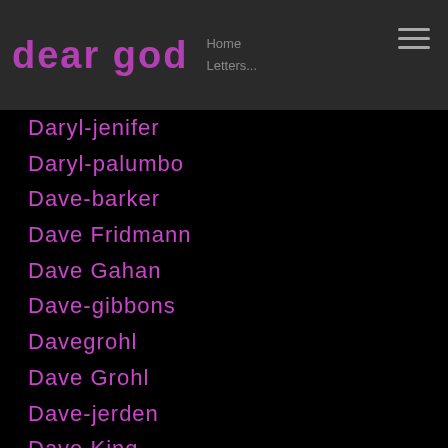dear god
Daryl-jenifer
Daryl-palumbo
Dave-barker
Dave Fridmann
Dave Gahan
Dave-gibbons
Davegrohl
Dave Grohl
Dave-jerden
Dave King
Dave Mustaine
Dave Navarro
Dave Vanian
Davey Havok
David B
David Bowie
David Byrne